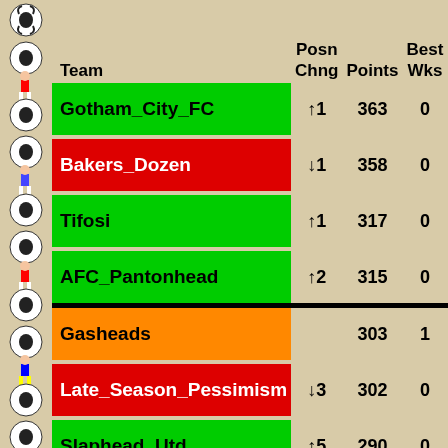| Team | Posn Chng | Points | Best Wks | Tra-fer |
| --- | --- | --- | --- | --- |
| Gotham_City_FC | ↑1 | 363 | 0 | 0 |
| Bakers_Dozen | ↓1 | 358 | 0 | 4 |
| Tifosi | ↑1 | 317 | 0 | 2 |
| AFC_Pantonhead | ↑2 | 315 | 0 | 6 |
| Gasheads |  | 303 | 1 | 0 |
| Late_Season_Pessimism | ↓3 | 302 | 0 | 5 |
| Slaphead_Utd | ↑5 | 290 | 0 | 2 |